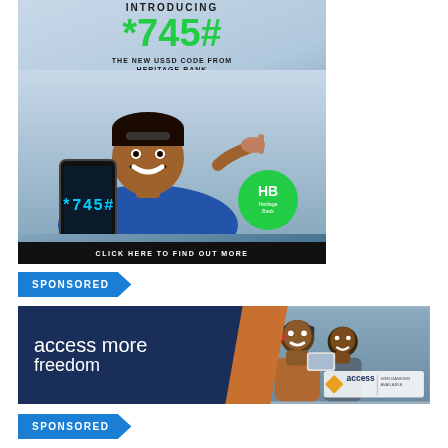[Figure (illustration): Heritage Bank advertisement introducing *745# USSD code. Shows a young man holding a smartphone displaying *745# on screen, with text 'INTRODUCING *745# THE NEW USSD CODE FROM HERITAGE BANK' and 'CLICK HERE TO FIND OUT MORE' at bottom. Heritage Bank logo (HB) visible on green badge.]
SPONSORED
[Figure (illustration): Access Bank advertisement reading 'access more freedom' on dark blue background with orange diagonal stripe, showing two men smiling, Access Bank logo with diamond shape visible.]
SPONSORED